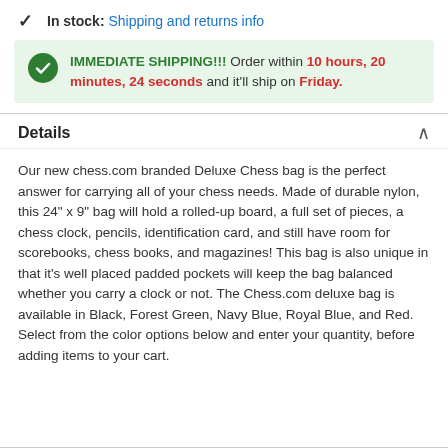In stock: Shipping and returns info
IMMEDIATE SHIPPING!!! Order within 10 hours, 20 minutes, 24 seconds and it'll ship on Friday.
Details
Our new chess.com branded Deluxe Chess bag is the perfect answer for carrying all of your chess needs. Made of durable nylon, this 24" x 9" bag will hold a rolled-up board, a full set of pieces, a chess clock, pencils, identification card, and still have room for scorebooks, chess books, and magazines! This bag is also unique in that it's well placed padded pockets will keep the bag balanced whether you carry a clock or not. The Chess.com deluxe bag is available in Black, Forest Green, Navy Blue, Royal Blue, and Red. Select from the color options below and enter your quantity, before adding items to your cart.